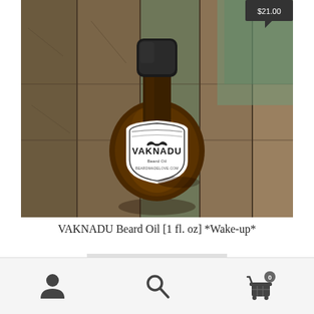[Figure (photo): A dark amber glass bottle of VAKNADU Beard Oil with a black cap, sitting on a rustic wooden surface. The bottle has a white shield-shaped label reading 'VAKNADU Beard Oil' with additional text.]
VAKNADU Beard Oil [1 fl. oz] *Wake-up*
Read more